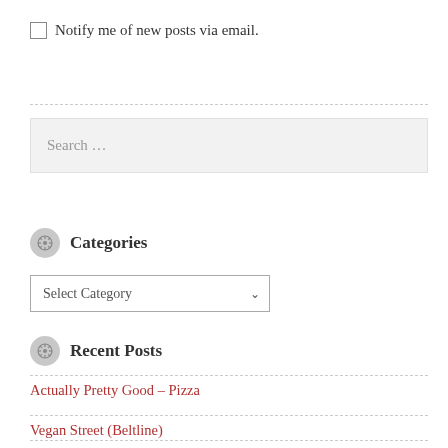Notify me of new posts via email.
Search ...
Categories
Select Category
Recent Posts
Actually Pretty Good – Pizza
Vegan Street (Beltline)